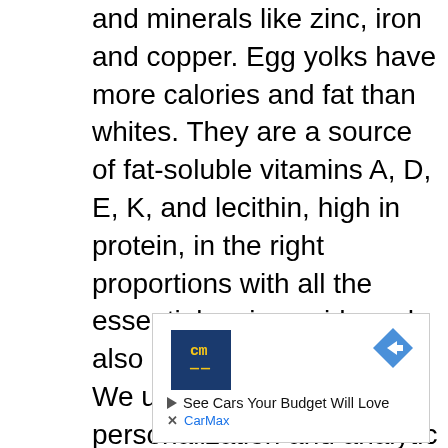and minerals like zinc, iron and copper. Egg yolks have more calories and fat than whites. They are a source of fat-soluble vitamins A, D, E, K, and lecithin, high in protein, in the right proportions with all the essential amino acids and also contain dietary fiber. We use Ezoic to provide personalization and analytic services on this website, as such Ezoic's privacy policy is in effect and can be reviewed here.
[Figure (other): CarMax advertisement banner with 'cm' logo in navy blue box with yellow text, navigation arrow icon, text 'See Cars Your Budget Will Love' and 'CarMax' link]